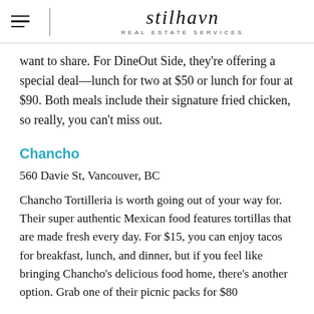stilhavn REAL ESTATE SERVICES
want to share. For DineOut Side, they're offering a special deal—lunch for two at $50 or lunch for four at $90. Both meals include their signature fried chicken, so really, you can't miss out.
Chancho
560 Davie St, Vancouver, BC
Chancho Tortilleria is worth going out of your way for. Their super authentic Mexican food features tortillas that are made fresh every day. For $15, you can enjoy tacos for breakfast, lunch, and dinner, but if you feel like bringing Chancho's delicious food home, there's another option. Grab one of their picnic packs for $80